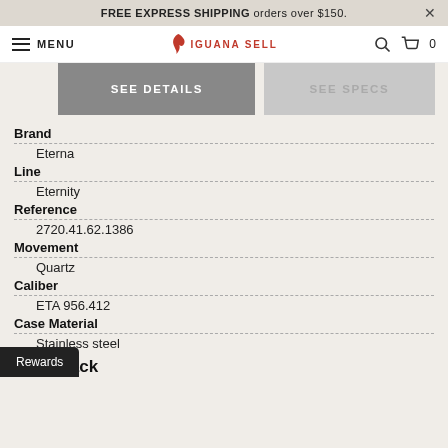FREE EXPRESS SHIPPING orders over $150.
MENU | IGUANA SELL | 0
SEE DETAILS
SEE SPECS
Brand
Eterna
Line
Eternity
Reference
2720.41.62.1386
Movement
Quartz
Caliber
ETA 956.412
Case Material
Stainless steel
Case back
Rewards